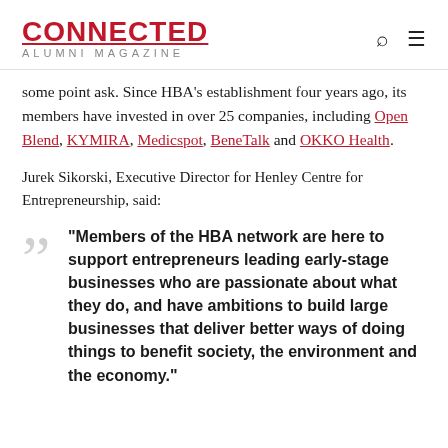CONNECTED ALUMNI MAGAZINE
some point ask. Since HBA’s establishment four years ago, its members have invested in over 25 companies, including Open Blend, KYMIRA, Medicspot, BeneTalk and OKKO Health.
Jurek Sikorski, Executive Director for Henley Centre for Entrepreneurship, said:
“Members of the HBA network are here to support entrepreneurs leading early-stage businesses who are passionate about what they do, and have ambitions to build large businesses that deliver better ways of doing things to benefit society, the environment and the economy.”